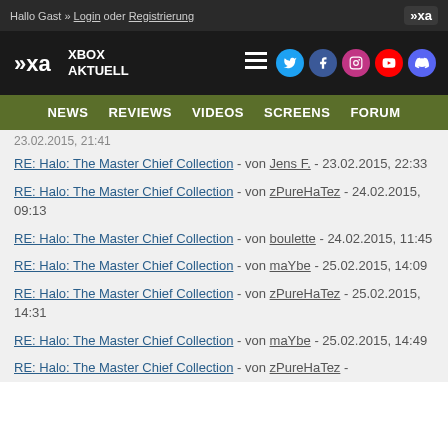Hallo Gast » Login oder Registrierung
[Figure (logo): Xbox Aktuell logo with XA symbol and social media icons (Twitter, Facebook, Instagram, YouTube, Discord)]
NEWS  REVIEWS  VIDEOS  SCREENS  FORUM
23.02.2015, 21:41
RE: Halo: The Master Chief Collection - von Jens F. - 23.02.2015, 22:33
RE: Halo: The Master Chief Collection - von zPureHaTez - 24.02.2015, 09:13
RE: Halo: The Master Chief Collection - von boulette - 24.02.2015, 11:45
RE: Halo: The Master Chief Collection - von maYbe - 25.02.2015, 14:09
RE: Halo: The Master Chief Collection - von zPureHaTez - 25.02.2015, 14:31
RE: Halo: The Master Chief Collection - von maYbe - 25.02.2015, 14:49
RE: Halo: The Master Chief Collection - von zPureHaTez -